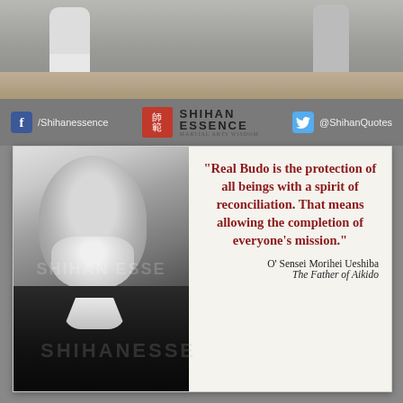[Figure (photo): Top banner photo showing people in martial arts training area, dojo floor visible]
f /Shihanessence   SHIHAN ESSENCE   @ShihanQuotes
[Figure (photo): Black and white portrait photo of O' Sensei Morihei Ueshiba, an elderly Japanese man with white beard wearing black gi, with SHIHANESSENCE watermark]
“Real Budo is the protection of all beings with a spirit of reconciliation. That means allowing the completion of everyone’s mission.”
O’ Sensei Morihei Ueshiba
The Father of Aikido